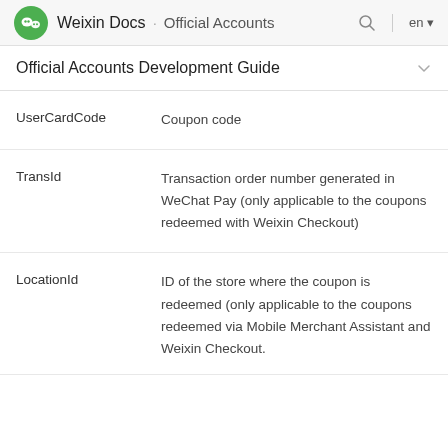Weixin Docs · Official Accounts
Official Accounts Development Guide
| Field | Description |
| --- | --- |
| UserCardCode | Coupon code |
| TransId | Transaction order number generated in WeChat Pay (only applicable to the coupons redeemed with Weixin Checkout) |
| LocationId | ID of the store where the coupon is redeemed (only applicable to the coupons redeemed via Mobile Merchant Assistant and Weixin Checkout. |